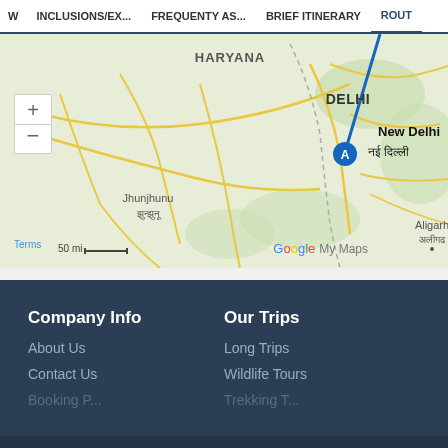W  INCLUSIONS/EX...  FREQUENTY AS...  BRIEF ITINERARY  ROUT
[Figure (map): Google My Maps showing northern India. A blue route line runs from upper right toward New Delhi marked with a blue circle marker labeled A. Cities visible: Haryana, Delhi, New Delhi / नई दिल्ली, Jhunjhunu / झुन्झुनू, Aligarh / अलीगढ. Map controls include + and - zoom buttons. Attribution shows Terms, 50 mi scale bar, and Google My Maps logo.]
Company Info
About Us
Contact Us
Booking P...
Our Trips
Long Trips
Wildlife Tours
Trekking T...
CALL US